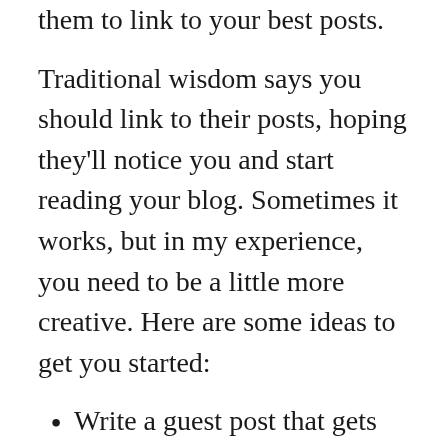them to link to your best posts.
Traditional wisdom says you should link to their posts, hoping they'll notice you and start reading your blog. Sometimes it works, but in my experience, you need to be a little more creative. Here are some ideas to get you started:
Write a guest post that gets lots of traffic and adoring comments
Attend conferences that all of the “Who’s Who” of your niche go to and network your tail off
Volunteer to “vote” for any posts that